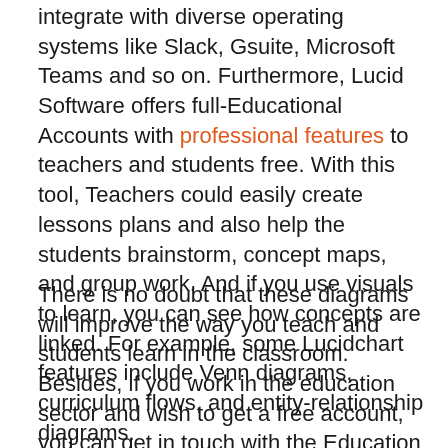integrate with diverse operating systems like Slack, Gsuite, Microsoft Teams and so on. Furthermore, Lucid Software offers full-Educational Accounts with professional features to teachers and students free. With this tool, Teachers could easily create lessons plans and also help the students brainstorm, concept maps, and group work. And if you use visuals to learn, you can see how concepts are linked. For example, some Lucidchart features include Venn diagrams, curriculum flows, and entity-relationship diagrams.
There is no doubt that these diagrams will improve the way you teach and students learn in the classroom. Besides, if you work in the education sector and wish to get a free account, you can get in touch with the Education sales team. But, if you are in the primary level of education, you can still get an educational account by registering for a free account using your